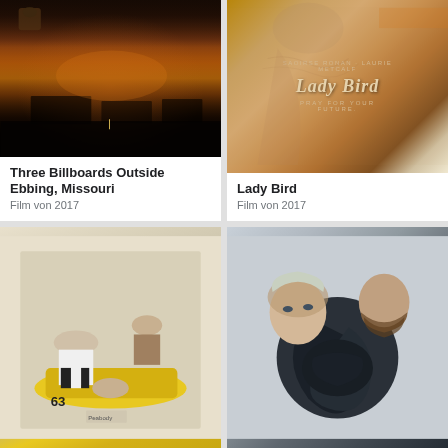[Figure (photo): Movie poster for Three Billboards Outside Ebbing, Missouri - dark dramatic sky with orange sunset and silhouettes]
Three Billboards Outside Ebbing, Missouri
Film von 2017
[Figure (photo): Movie poster for Lady Bird - close-up of a woman's neck and shoulder with Lady Bird title text]
Lady Bird
Film von 2017
[Figure (photo): Movie poster - black and white photo of group of people on a yellow car, number 63 visible]
[Figure (photo): Movie poster - artistic composition with two faces and dark swirling shapes]